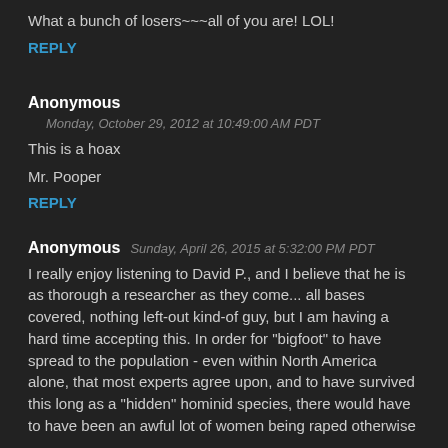What a bunch of losers~~~all of you are! LOL!
REPLY
Anonymous
Monday, October 29, 2012 at 10:49:00 AM PDT
This is a hoax
Mr. Pooper
REPLY
Anonymous
Sunday, April 26, 2015 at 5:32:00 PM PDT
I really enjoy listening to David P., and I believe that he is as thorough a researcher as they come... all bases covered, nothing left-out kind-of guy, but I am having a hard time accepting this. In order for "bigfoot" to have spread to the population - even within North America alone, that most experts agree upon, and to have survived this long as a "hidden" hominid species, there would have to have been an awful lot of women being raped otherwise